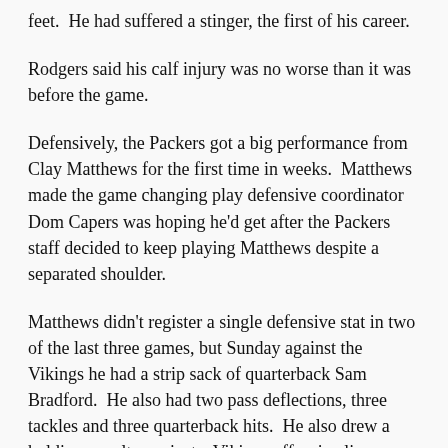feet.  He had suffered a stinger, the first of his career.
Rodgers said his calf injury was no worse than it was before the game.
Defensively, the Packers got a big performance from Clay Matthews for the first time in weeks.  Matthews made the game changing play defensive coordinator Dom Capers was hoping he'd get after the Packers staff decided to keep playing Matthews despite a separated shoulder.
Matthews didn't register a single defensive stat in two of the last three games, but Sunday against the Vikings he had a strip sack of quarterback Sam Bradford.  He also had two pass deflections, three tackles and three quarterback hits.  He also drew a holding penalty against a Vikings offensive lineman.